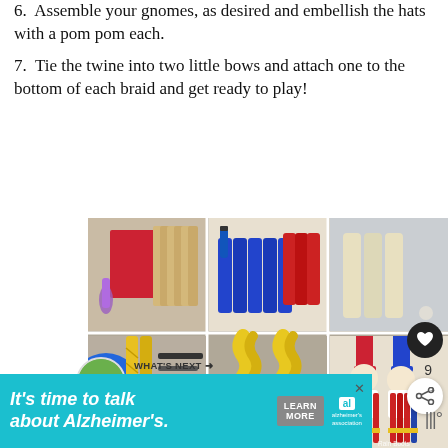6. Assemble your gnomes, as desired and embellish the hats with a pom pom each.
7. Tie the twine into two little bows and attach one to the bottom of each braid and get ready to play!
[Figure (photo): 6-panel photo collage showing craft steps for making popsicle stick gnomes: top row shows red card, popsicle sticks/twine; blue markers with blue/red colored sticks; wooden craft sticks. Bottom row shows blue circle shape with yellow braids and scissors/pen; two yellow braided rope pieces; completed gnome figures with red and blue hats and beards.]
WHAT'S NEXT → This Easy Popsicle Sti...
It's time to talk about Alzheimer's.
LEARN MORE